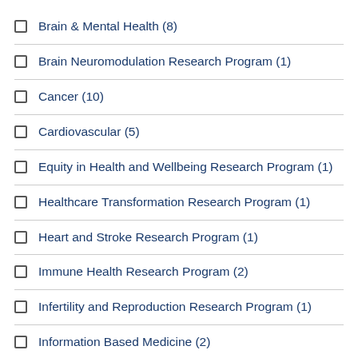Brain & Mental Health (8)
Brain Neuromodulation Research Program (1)
Cancer (10)
Cardiovascular (5)
Equity in Health and Wellbeing Research Program (1)
Healthcare Transformation Research Program (1)
Heart and Stroke Research Program (1)
Immune Health Research Program (2)
Infertility and Reproduction Research Program (1)
Information Based Medicine (2)